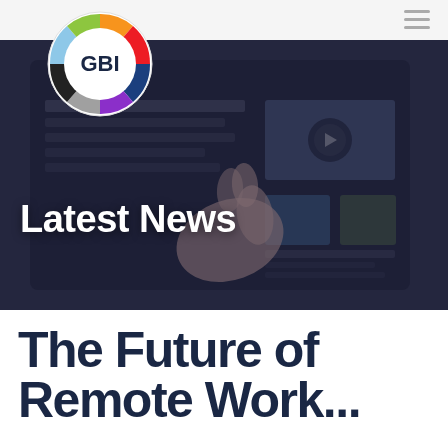[Figure (logo): GBI circular logo with multicolor ring (orange, red, dark blue, purple, gray, light blue, green segments) and GBI text in center]
[Figure (photo): Hero banner photo showing a hand using a tablet device displaying a news website, overlaid with dark blue tint]
Latest News
The Future of Remote Work...